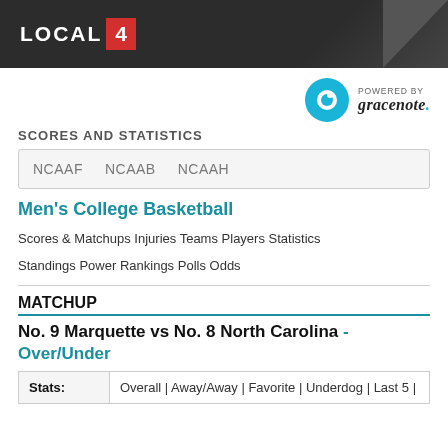LOCAL 4
[Figure (logo): Powered by Gracenote logo with teal circle and stylized g icon]
SCORES AND STATISTICS
NCAAF   NCAAB   NCAAH
Men's College Basketball
Scores & Matchups   Injuries   Teams   Players   Statistics   Standings   Power Rankings   Polls   Odds
MATCHUP
No. 9 Marquette vs No. 8 North Carolina - Over/Under
| Stats: |  |
| --- | --- |
| Stats: | Overall | Away/Away | Favorite | Underdog | Last 5 | |